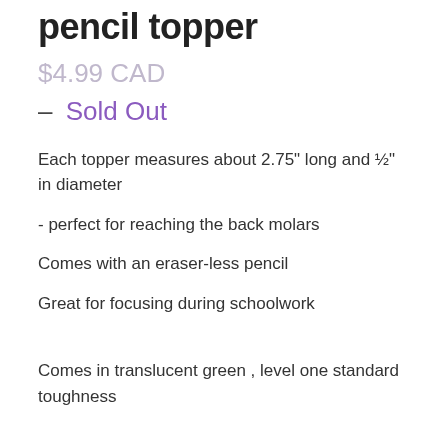pencil topper
$4.99 CAD
– Sold Out
Each topper measures about 2.75" long and ½" in diameter
- perfect for reaching the back molars
Comes with an eraser-less pencil
Great for focusing during schoolwork
Comes in translucent green , level one standard toughness